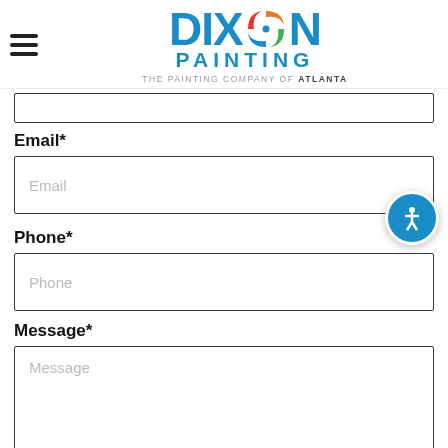[Figure (logo): Dixon Painting logo with swirl icon and tagline THE PAINTING COMPANY OF ATLANTA]
Email*
Email (input placeholder)
Phone*
Phone (input placeholder)
Message*
Message (textarea placeholder)